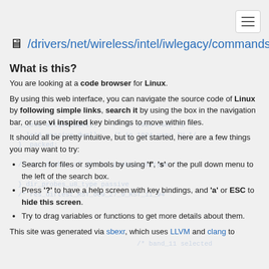/drivers/net/wireless/intel/iwlegacy/commands.h
What is this?
You are looking at a code browser for Linux.
By using this web interface, you can navigate the source code of Linux by following simple links, search it by using the box in the navigation bar, or use vi inspired key bindings to move within files.
It should all be pretty intuitive, but to get started, here are a few things you may want to try:
Search for files or symbols by using 'f', 's' or the pull down menu to the left of the search box.
Press '?' to have a help screen with key bindings, and 'a' or ESC to hide this screen.
Try to drag variables or functions to get more details about them.
This site was generated via sbexr, which uses LLVM and clang to parse and index the code.